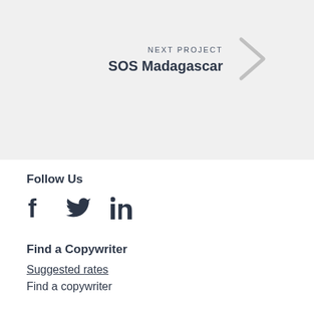NEXT PROJECT
SOS Madagascar
Follow Us
[Figure (other): Social media icons: Facebook, Twitter, LinkedIn]
Find a Copywriter
Suggested rates
Find a copywriter